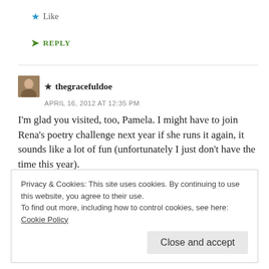★ Like
➤ REPLY
★ thegracefuldoe
APRIL 16, 2012 AT 12:35 PM
I'm glad you visited, too, Pamela. I might have to join Rena's poetry challenge next year if she runs it again, it sounds like a lot of fun (unfortunately I just don't have the time this year).
Privacy & Cookies: This site uses cookies. By continuing to use this website, you agree to their use.
To find out more, including how to control cookies, see here: Cookie Policy
Close and accept